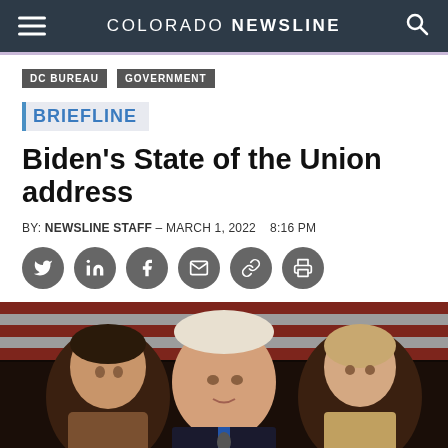COLORADO NEWSLINE
DC BUREAU   GOVERNMENT
BRIEFLINE
Biden's State of the Union address
BY: NEWSLINE STAFF - MARCH 1, 2022   8:16 PM
[Figure (photo): Photo of President Biden speaking at a podium during the State of the Union address, with Vice President Kamala Harris on the left and Speaker Nancy Pelosi on the right, American flag in background.]